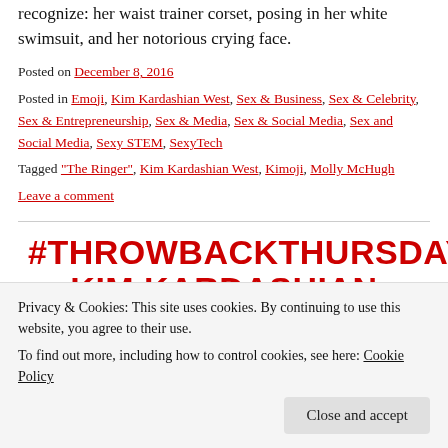recognize: her waist trainer corset, posing in her white swimsuit, and her notorious crying face.
Posted on December 8, 2016
Posted in Emoji, Kim Kardashian West, Sex & Business, Sex & Celebrity, Sex & Entrepreneurship, Sex & Media, Sex & Social Media, Sex and Social Media, Sexy STEM, SexyTech
Tagged "The Ringer", Kim Kardashian West, Kimoji, Molly McHugh
Leave a comment
#THROWBACKTHURSDAY: KIM KARDASHIAN WEST, "PAPER" MAGAZINE, 2014
Privacy & Cookies: This site uses cookies. By continuing to use this website, you agree to their use.
To find out more, including how to control cookies, see here: Cookie Policy
Close and accept